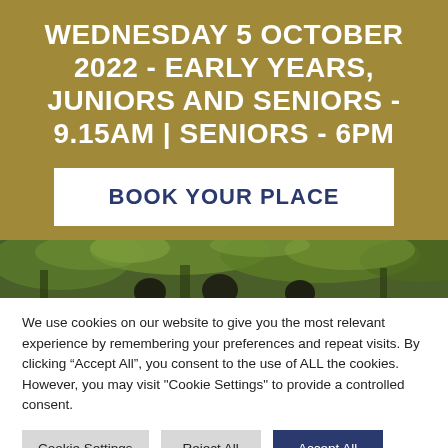WEDNESDAY 5 OCTOBER 2022 - EARLY YEARS, JUNIORS AND SENIORS - 9.15AM | SENIORS - 6PM
BOOK YOUR PLACE
[Figure (photo): Outdoor photo strip showing children/people among green trees and foliage]
We use cookies on our website to give you the most relevant experience by remembering your preferences and repeat visits. By clicking “Accept All”, you consent to the use of ALL the cookies. However, you may visit "Cookie Settings" to provide a controlled consent.
Cookie Settings
Reject All
Accept All